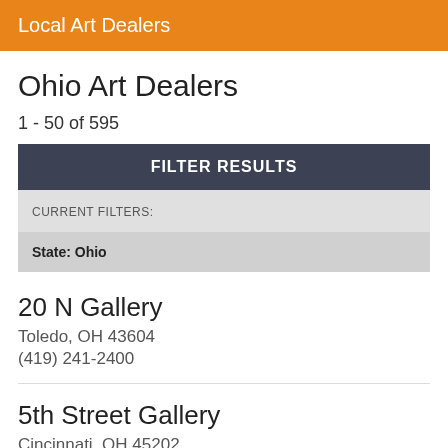Local Art Dealers
Ohio Art Dealers
1 - 50 of 595
FILTER RESULTS
CURRENT FILTERS:
State: Ohio
20 N Gallery
Toledo, OH 43604
(419) 241-2400
5th Street Gallery
Cincinnati, OH 45202
(513) 579-9333